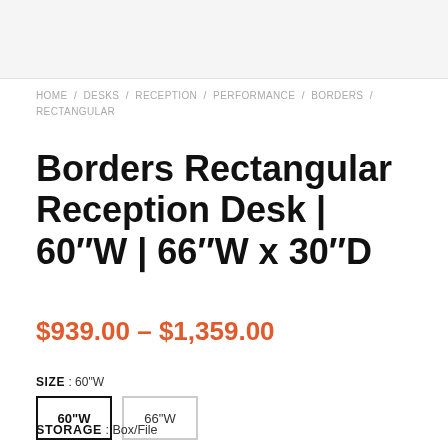HOME / DESKS / RECEPTION / PERFORMANCE / BORDERS / RECTANGULAR
Borders Rectangular Reception Desk | 60″W | 66″W x 30″D
$939.00 – $1,359.00
SIZE : 60"W
60"W  66"W
STORAGE : Box/File